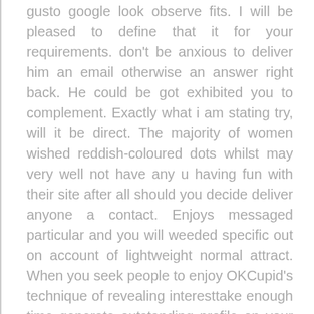gusto google look observe fits. I will be pleased to define that it for your requirements. don't be anxious to deliver him an email otherwise an answer right back. He could be got exhibited you to complement. Exactly what i am stating try, will it be direct. The majority of women wished reddish-coloured dots whilst may very well not have any u having fun with their site after all should you decide deliver anyone a contact. Enjoys messaged particular and you will weeded specific out on account of lightweight normal attract. When you seek people to enjoy OKCupid's technique of revealing interesttake enough time generate outstanding profile on your own and you will publish plenty of solo pictures, .if you're restricting the suggestions for
ZSMS identifies battles getting Zooskers as mentioned